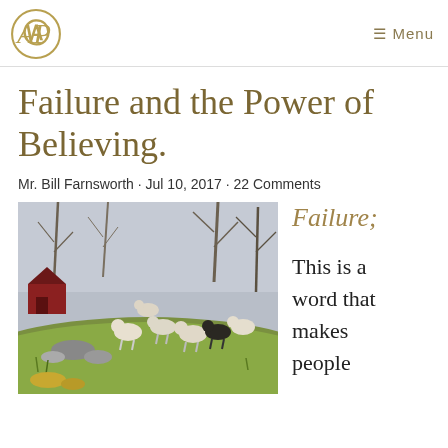Menu
Failure and the Power of Believing.
Mr. Bill Farnsworth · Jul 10, 2017 · 22 Comments
[Figure (photo): Painting of a flock of sheep grazing on a hillside with bare trees and a red barn in the background, pastoral landscape scene.]
Failure;

This is a word that makes people